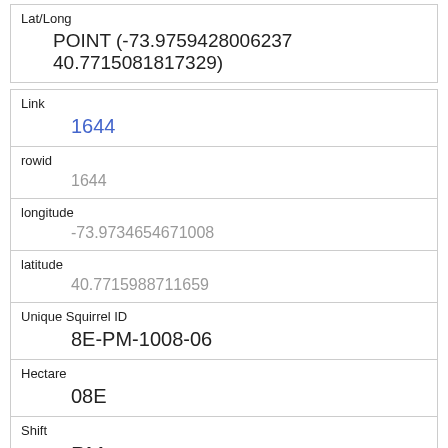| Field | Value |
| --- | --- |
| Lat/Long | POINT (-73.9759428006237 40.7715081817329) |
| Link | 1644 |
| rowid | 1644 |
| longitude | -73.9734654671008 |
| latitude | 40.7715988711659 |
| Unique Squirrel ID | 8E-PM-1008-06 |
| Hectare | 08E |
| Shift | PM |
| Date | 10082018 |
| Hectare Squirrel Number |  |